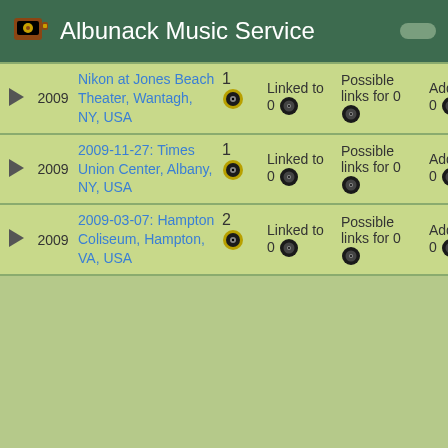Albunack Music Service
|  | Year | Venue | Count | Linked | Possible links | Additional |
| --- | --- | --- | --- | --- | --- | --- |
| ► | 2009 | Nikon at Jones Beach Theater, Wantagh, NY, USA | 1 | Linked to 0 | Possible links for 0 | Additional 0 |
| ► | 2009 | 2009-11-27: Times Union Center, Albany, NY, USA | 1 | Linked to 0 | Possible links for 0 | Additional 0 |
| ► | 2009 | 2009-03-07: Hampton Coliseum, Hampton, VA, USA | 2 | Linked to 0 | Possible links for 0 | Additional 0 |